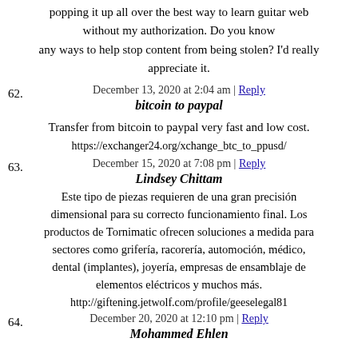popping it up all over the best way to learn guitar web without my authorization. Do you know any ways to help stop content from being stolen? I'd really appreciate it.
December 13, 2020 at 2:04 am | Reply
62. bitcoin to paypal
Transfer from bitcoin to paypal very fast and low cost.
https://exchanger24.org/xchange_btc_to_ppusd/
December 15, 2020 at 7:08 pm | Reply
63. Lindsey Chittam
Este tipo de piezas requieren de una gran precisión dimensional para su correcto funcionamiento final. Los productos de Tornimatic ofrecen soluciones a medida para sectores como grifería, racorería, automoción, médico, dental (implantes), joyería, empresas de ensamblaje de elementos eléctricos y muchos más.
http://giftening.jetwolf.com/profile/geeselegal81
December 20, 2020 at 12:10 pm | Reply
64. Mohammed Ehlen